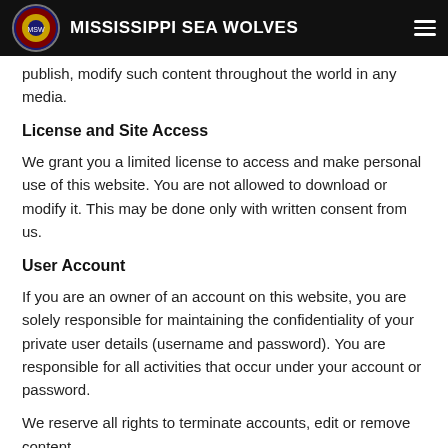MISSISSIPPI SEA WOLVES
publish, modify such content throughout the world in any media.
License and Site Access
We grant you a limited license to access and make personal use of this website. You are not allowed to download or modify it. This may be done only with written consent from us.
User Account
If you are an owner of an account on this website, you are solely responsible for maintaining the confidentiality of your private user details (username and password). You are responsible for all activities that occur under your account or password.
We reserve all rights to terminate accounts, edit or remove content